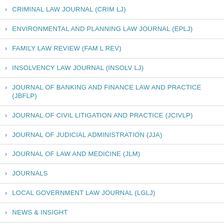CRIMINAL LAW JOURNAL (CRIM LJ)
ENVIRONMENTAL AND PLANNING LAW JOURNAL (EPLJ)
FAMILY LAW REVIEW (FAM L REV)
INSOLVENCY LAW JOURNAL (INSOLV LJ)
JOURNAL OF BANKING AND FINANCE LAW AND PRACTICE (JBFLP)
JOURNAL OF CIVIL LITIGATION AND PRACTICE (JCIVLP)
JOURNAL OF JUDICIAL ADMINISTRATION (JJA)
JOURNAL OF LAW AND MEDICINE (JLM)
JOURNALS
LOCAL GOVERNMENT LAW JOURNAL (LGLJ)
NEWS & INSIGHT
NORTHERN TERRITORY LAW JOURNAL AND REPORTS (NTLJ)
ONLINE CURRENTS (OLC) [DECOMMISSIONED]